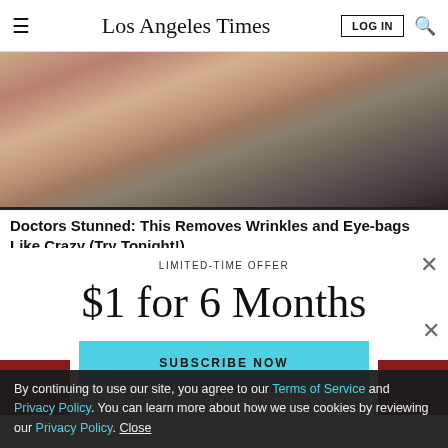Los Angeles Times
[Figure (photo): Close-up photo of elderly person's face showing wrinkled skin and lips]
Doctors Stunned: This Removes Wrinkles and Eye-bags Like Crazy (Try Tonight!)
LIMITED-TIME OFFER
$1 for 6 Months
SUBSCRIBE NOW
TV's biggest stars.
By continuing to use our site, you agree to our Terms of Service and Privacy Policy. You can learn more about how we use cookies by reviewing our Privacy Policy. Close